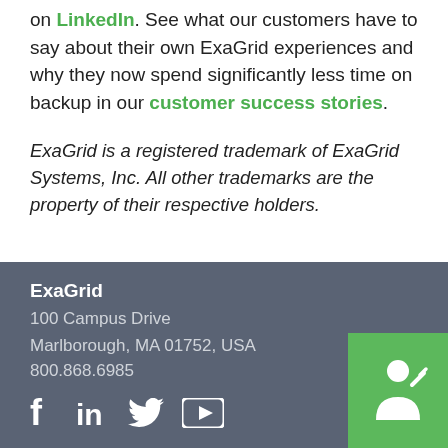on LinkedIn. See what our customers have to say about their own ExaGrid experiences and why they now spend significantly less time on backup in our customer success stories.
ExaGrid is a registered trademark of ExaGrid Systems, Inc. All other trademarks are the property of their respective holders.
ExaGrid
100 Campus Drive
Marlborough, MA 01752, USA
800.868.6985
[Figure (logo): Green box with white person/speaker icon in the bottom right corner of the footer]
[Figure (infographic): Social media icons: Facebook (f), LinkedIn (in), Twitter bird, YouTube play button — white icons on dark grey footer background]